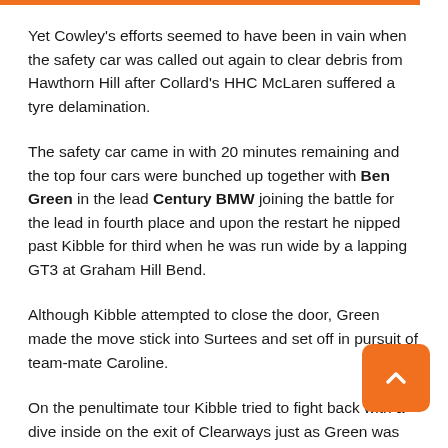Yet Cowley's efforts seemed to have been in vain when the safety car was called out again to clear debris from Hawthorn Hill after Collard's HHC McLaren suffered a tyre delamination.
The safety car came in with 20 minutes remaining and the top four cars were bunched up together with Ben Green in the lead Century BMW joining the battle for the lead in fourth place and upon the restart he nipped past Kibble for third when he was run wide by a lapping GT3 at Graham Hill Bend.
Although Kibble attempted to close the door, Green made the move stick into Surtees and set off in pursuit of team-mate Caroline.
On the penultimate tour Kibble tried to fight back with a dive inside on the exit of Clearways just as Green was attempting to undercut Caroline, a move which forced the BMW into the